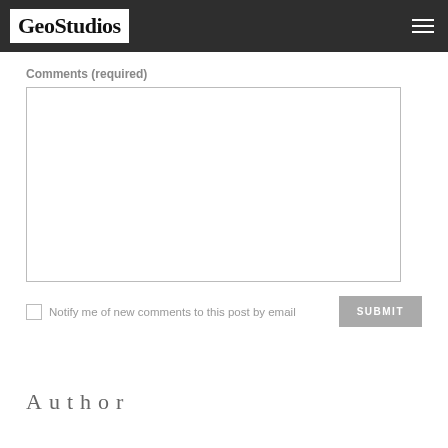GeoStudios
Comments (required)
[Figure (other): Empty comment textarea input box]
Notify me of new comments to this post by email
SUBMIT
Author